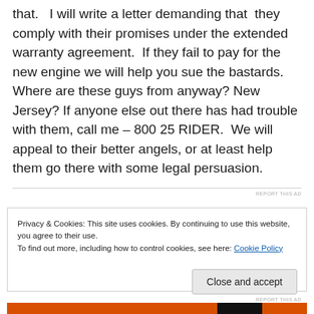that.  I will write a letter demanding that  they comply with their promises under the extended warranty agreement.  If they fail to pay for the new engine we will help you sue the bastards.  Where are these guys from anyway? New Jersey? If anyone else out there has had trouble with them, call me – 800 25 RIDER.  We will appeal to their better angels, or at least help them go there with some legal persuasion.
REPORT THIS AD
Privacy & Cookies: This site uses cookies. By continuing to use this website, you agree to their use.
To find out more, including how to control cookies, see here: Cookie Policy